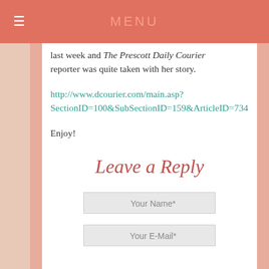MENU
last week and The Prescott Daily Courier reporter was quite taken with her story.
http://www.dcourier.com/main.asp?SectionID=100&SubSectionID=159&ArticleID=734
Enjoy!
Leave a Reply
Your Name*
Your E-Mail*